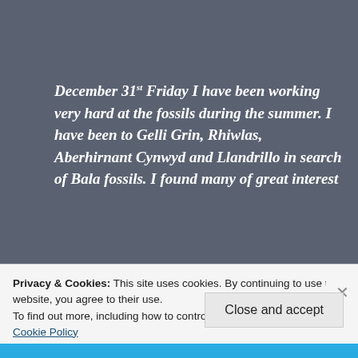December 31st Friday I have been working very hard at the fossils during the summer. I have been to Gelli Grin, Rhiwlas, Aberhirnant Cynwyd and Llandrillo in search of Bala fossils. I found many of great interest
I have made some new friends such as. Davies (D C
Privacy & Cookies: This site uses cookies. By continuing to use this website, you agree to their use.
To find out more, including how to control cookies, see here:
Cookie Policy
Close and accept